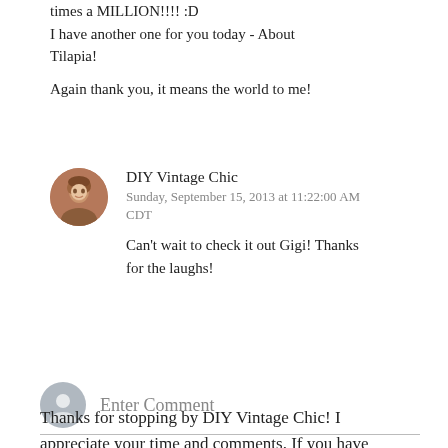times a MILLION!!!! :D
I have another one for you today - About Tilapia!

Again thank you, it means the world to me!
DIY Vintage Chic
Sunday, September 15, 2013 at 11:22:00 AM CDT

Can't wait to check it out Gigi! Thanks for the laughs!
REPLY
Enter Comment
Thanks for stopping by DIY Vintage Chic! I appreciate your time and comments. If you have any direct comments please let me know. Feel